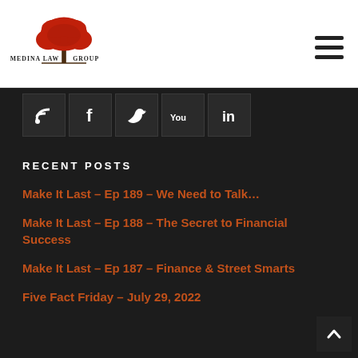[Figure (logo): Medina Law Group logo with red tree and serif text]
[Figure (infographic): Social media icons bar: RSS, Facebook, Twitter, YouTube, LinkedIn]
RECENT POSTS
Make It Last – Ep 189 – We Need to Talk…
Make It Last – Ep 188 – The Secret to Financial Success
Make It Last – Ep 187 – Finance & Street Smarts
Five Fact Friday – July 29, 2022